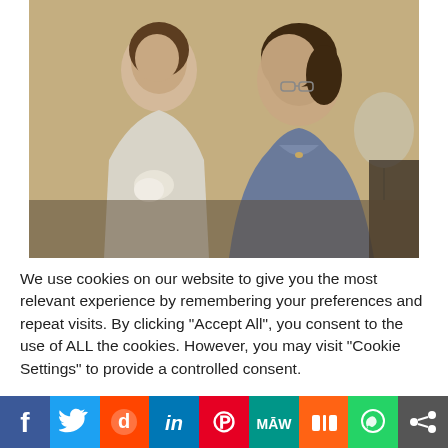[Figure (photo): Two women in blue dresses at what appears to be a wedding or formal event. One woman on the left is smiling, holding flowers. The woman on the right has glasses and curly hair. A balloon is visible in the background.]
We use cookies on our website to give you the most relevant experience by remembering your preferences and repeat visits. By clicking "Accept All", you consent to the use of ALL the cookies. However, you may visit "Cookie Settings" to provide a controlled consent.
Cookie Settings | Accept All
[Figure (infographic): Social sharing bar with icons for Facebook, Twitter, Reddit, LinkedIn, Pinterest, MeWe, Mix, WhatsApp, and a share button]